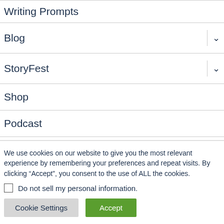Writing Prompts
Blog
StoryFest
Shop
Podcast
We use cookies on our website to give you the most relevant experience by remembering your preferences and repeat visits. By clicking “Accept”, you consent to the use of ALL the cookies.
Do not sell my personal information.
Cookie Settings
Accept